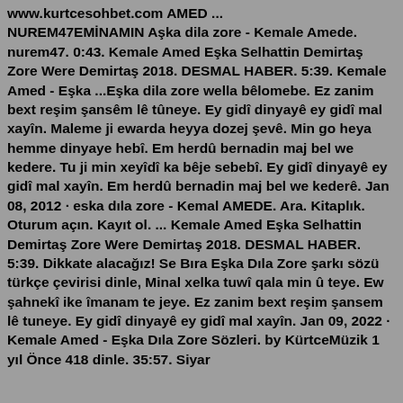www.kurtcesohbet.com AMED ... NUREM47EMİNAMIN Aşka dila zore - Kemale Amede. nurem47. 0:43. Kemale Amed Eşka Selhattin Demirtaş Zore Were Demirtaş 2018. DESMAL HABER. 5:39. Kemale Amed - Eşka ...Eşka dila zore wella bêlomebe. Ez zanim bext reşim şansêm lê tûneye. Ey gidî dinyayê ey gidî mal xayîn. Maleme ji ewarda heyya dozej şevê. Min go heya hemme dinyaye hebî. Em herdû bernadin maj bel we kedere. Tu ji min xeyîdî ka bêje sebebî. Ey gidî dinyayê ey gidî mal xayîn. Em herdû bernadin maj bel we kederê. Jan 08, 2012 · eska dıla zore - Kemal AMEDE. Ara. Kitaplık. Oturum açın. Kayıt ol. ... Kemale Amed Eşka Selhattin Demirtaş Zore Were Demirtaş 2018. DESMAL HABER. 5:39. Dikkate alacağız! Se Bıra Eşka Dıla Zore şarkı sözü türkçe çevirisi dinle, Minal xelka tuwî qala min û teye. Ew şahnekî ike îmanam te jeye. Ez zanim bext reşim şansem lê tuneye. Ey gidî dinyayê ey gidî mal xayîn. Jan 09, 2022 · Kemale Amed - Eşka Dıla Zore Sözleri. by KürtceMüzik 1 yıl Önce 418 dinle. 35:57. Siyar